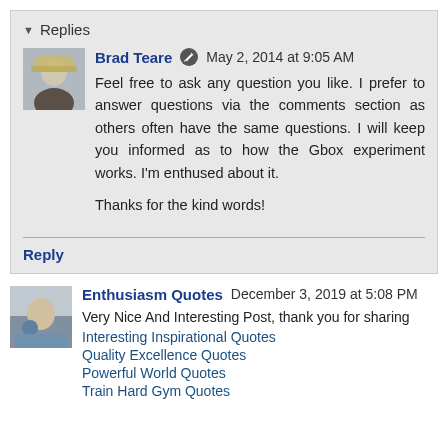Replies
Brad Teare  May 2, 2014 at 9:05 AM
Feel free to ask any question you like. I prefer to answer questions via the comments section as others often have the same questions. I will keep you informed as to how the Gbox experiment works. I'm enthused about it.

Thanks for the kind words!
Reply
Enthusiasm Quotes  December 3, 2019 at 5:08 PM
Very Nice And Interesting Post, thank you for sharing
Interesting Inspirational Quotes
Quality Excellence Quotes
Powerful World Quotes
Train Hard Gym Quotes